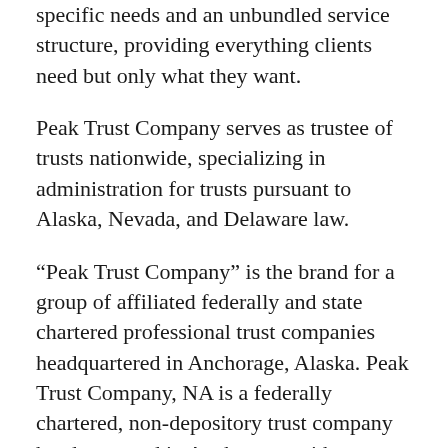specific needs and an unbundled service structure, providing everything clients need but only what they want.
Peak Trust Company serves as trustee of trusts nationwide, specializing in administration for trusts pursuant to Alaska, Nevada, and Delaware law.
“Peak Trust Company” is the brand for a group of affiliated federally and state chartered professional trust companies headquartered in Anchorage, Alaska. Peak Trust Company, NA is a federally chartered, non-depository trust company headquartered in Anchorage, with a branch office in Wilmington, Delaware. Peak Trust Company maintains separate state charters for operations in Alaska and Nevada as Peak Trust Company-AK and Peak Trust Company-NV.
For more information, please contact Mariam Hall at